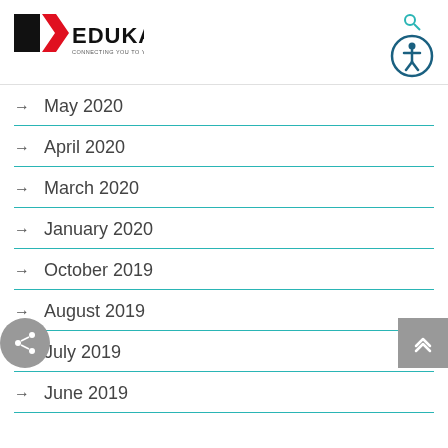[Figure (logo): EDUKAN logo with tagline 'CONNECTING YOU TO YOUR FUTURE']
May 2020
April 2020
March 2020
January 2020
October 2019
August 2019
July 2019
June 2019